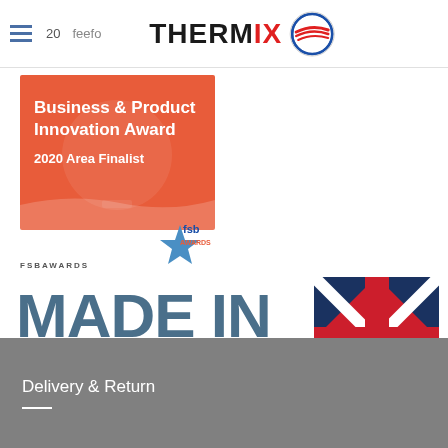THERMIX - navigation header with hamburger menu, Feefo rating, and Thermix logo
[Figure (logo): FSB Business & Product Innovation Award 2020 Area Finalist badge with orange background and FSB Awards star logo]
[Figure (logo): Made in Britain logo with large blue bold text and Union Jack arrow graphic in red, white, and navy]
Delivery & Return